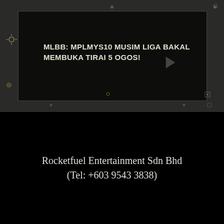[Figure (screenshot): Dark-themed video player interface showing a dark background with the video title text 'MLBB: MPLMYS10 MUSIM LIGA BAKAL MEMBUKA TIRAI 5 OGOS!' displayed in white text on a black video frame. Various small UI control icons are visible around the frame.]
Rocketfuel Entertainment Sdn Bhd
(Tel: +603 9543 3838)